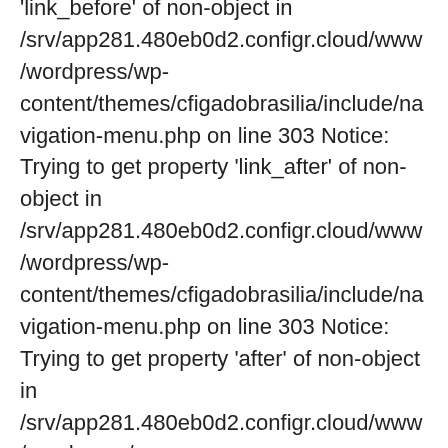'link_before' of non-object in /srv/app281.480eb0d2.configr.cloud/www/wordpress/wp-content/themes/cfigadobrasilia/include/navigation-menu.php on line 303 Notice: Trying to get property 'link_after' of non-object in /srv/app281.480eb0d2.configr.cloud/www/wordpress/wp-content/themes/cfigadobrasilia/include/navigation-menu.php on line 303 Notice: Trying to get property 'after' of non-object in /srv/app281.480eb0d2.configr.cloud/www/wordpress/wp-content/themes/cfigadobrasilia/include/navigation-menu.php on line 322 Notice: Trying to get property 'before' of non-object in